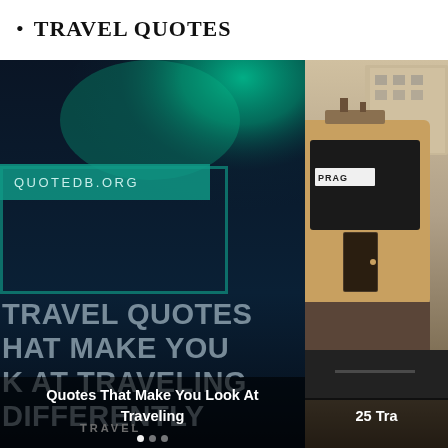TRAVEL QUOTES
[Figure (photo): Card showing aurora borealis background with teal banner reading QUOTEDB.ORG, overlapping teal border box, large semi-transparent text reading TRAVEL QUOTES THAT MAKE YOU LOOK AT TRAVELING DIFFERENTLY, a TRAVEL label, and a bottom caption: Quotes That Make You Look At Traveling]
[Figure (photo): Card showing a vintage yellow tram/streetcar, partial view, with a caption at the bottom: 25 Tra (truncated)]